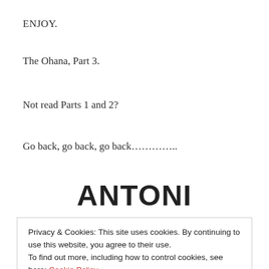ENJOY.
The Ohana, Part 3.
Not read Parts 1 and 2?
Go back, go back, go back………..
ANTONI
Privacy & Cookies: This site uses cookies. By continuing to use this website, you agree to their use.
To find out more, including how to control cookies, see here: Cookie Policy
Close and accept
I admit it. I am obsessed. Obsessed and ready